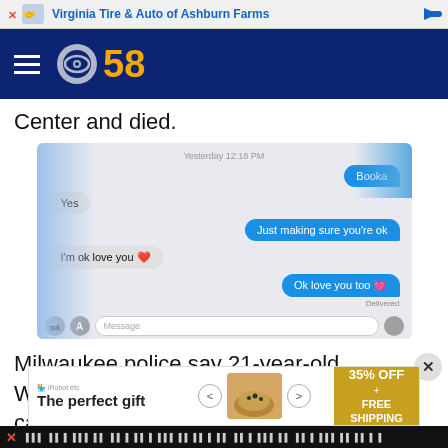[Figure (screenshot): Top advertisement banner for Virginia Tire & Auto of Ashburn Farms]
CBS 58 navigation bar with hamburger menu and CBS 58 logo
Center and died.
[Figure (screenshot): iMessage screenshot showing conversation: 'Yesterday 12:18 PM' / 'Booka' / 'Yes' / 'Just making sure you're ok' / 'I'm ok love you ❤️' / 'Ok love you too 💓' / 'Delivered']
Milwaukee police say 21-year-old Woodard and another man were inside a car when they were shot.
[Figure (screenshot): Bottom advertisement: 'The perfect gift' with food image, navigation arrows, and '35% OFF + FREE SHIPPING' offer]
Ticker bar with X close button and scrolling text